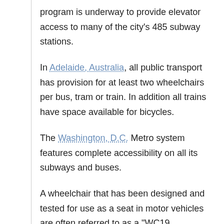program is underway to provide elevator access to many of the city's 485 subway stations.
In Adelaide, Australia, all public transport has provision for at least two wheelchairs per bus, tram or train. In addition all trains have space available for bicycles.
The Washington, D.C. Metro system features complete accessibility on all its subways and buses.
A wheelchair that has been designed and tested for use as a seat in motor vehicles are often referred to as a "WC19 Wheelchair" or a "transit wheelchair". ANSI-RESNA WC19 (officially, SECTION 19 ANSI/RESNA WC/VOL. 1 Wheelchairs for use in Motor Vehicles) is a voluntary standard for